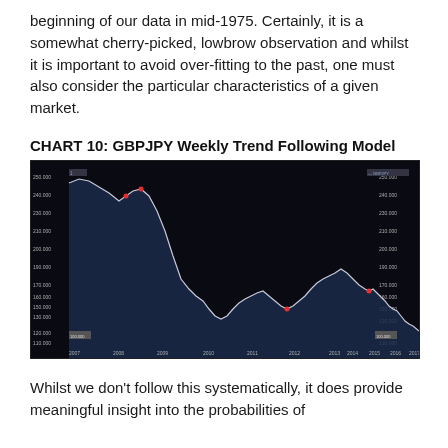beginning of our data in mid-1975. Certainly, it is a somewhat cherry-picked, lowbrow observation and whilst it is important to avoid over-fitting to the past, one must also consider the particular characteristics of a given market.
CHART 10: GBPJPY Weekly Trend Following Model
[Figure (continuous-plot): GBPJPY Weekly Trend Following Model chart on a dark background showing price history from approximately 2007 to 2017. The chart shows a peak around 240-250 in 2007-2008, a sharp decline to lows around 120-130 in 2011-2012, followed by a recovery towards 180-190 in 2015-2016, then declining again. Y-axis shows price levels from approximately 100 to 250. Buy/sell signals marked with small red dots.]
Whilst we don't follow this systematically, it does provide meaningful insight into the probabilities of